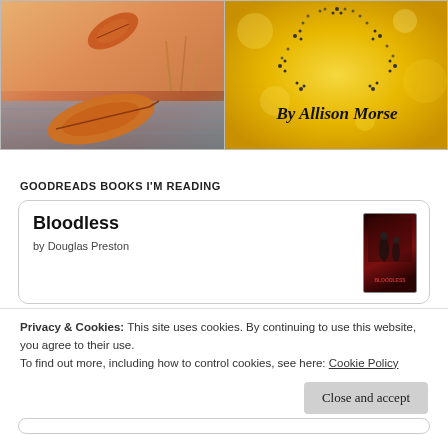[Figure (photo): Autumn leaves on a wooden surface with warm orange and golden tones]
[Figure (illustration): Golden bokeh background with star outline made of dots and text 'By Allison Morse' in italic script]
GOODREADS BOOKS I'M READING
Bloodless
by Douglas Preston
[Figure (photo): Book cover for Bloodless - dark red/black tones]
Privacy & Cookies: This site uses cookies. By continuing to use this website, you agree to their use.
To find out more, including how to control cookies, see here: Cookie Policy
Close and accept